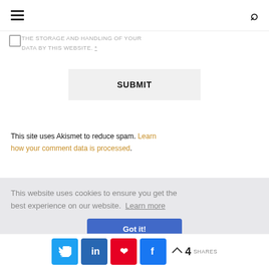≡  🔍
THE STORAGE AND HANDLING OF YOUR DATA BY THIS WEBSITE. *
SUBMIT
This site uses Akismet to reduce spam. Learn how your comment data is processed.
This website uses cookies to ensure you get the best experience on our website. Learn more
Got it!
4 SHARES